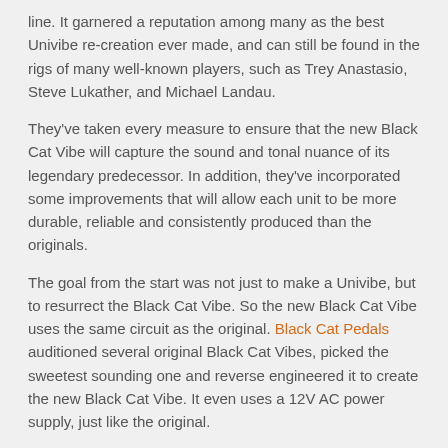line. It garnered a reputation among many as the best Univibe re-creation ever made, and can still be found in the rigs of many well-known players, such as Trey Anastasio, Steve Lukather, and Michael Landau.
They've taken every measure to ensure that the new Black Cat Vibe will capture the sound and tonal nuance of its legendary predecessor. In addition, they've incorporated some improvements that will allow each unit to be more durable, reliable and consistently produced than the originals.
The goal from the start was not just to make a Univibe, but to resurrect the Black Cat Vibe. So the new Black Cat Vibe uses the same circuit as the original. Black Cat Pedals auditioned several original Black Cat Vibes, picked the sweetest sounding one and reverse engineered it to create the new Black Cat Vibe. It even uses a 12V AC power supply, just like the original.
Black Cat Vibe Features:
Same circuit as the original Black Cat Vibe
Custom fabricated Metallic Silver enclosure – Made the USA
Custom fabricated “Black Cat Dome” lamp/LDR cover – Made in USA